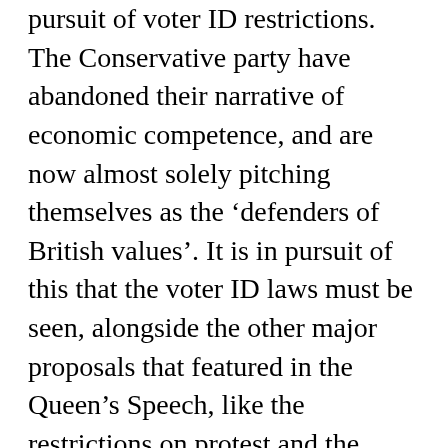pursuit of voter ID restrictions. The Conservative party have abandoned their narrative of economic competence, and are now almost solely pitching themselves as the 'defenders of British values'. It is in pursuit of this that the voter ID laws must be seen, alongside the other major proposals that featured in the Queen's Speech, like the restrictions on protest and the attack on freedom of speech in universities, or the continued demonisation of immigrants and refugees. The government are trying to portray themselves as defenders of British heritage and British values. For those who oppose them, the challenge is to expose them as peddling a bigoted distortion of these values, that degrade rather than elevate Britain and its history.